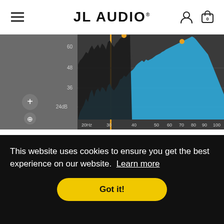JL AUDIO. [hamburger menu, user icon, cart icon]
[Figure (screenshot): Real Time Spectrum Analyzer (RTA) screenshot showing frequency spectrum display with blue bars from 20Hz to 100Hz, dB scale on y-axis (24dB, 36, 48, 60), dark background with orange markers at peak frequencies]
Real Time Spectrum Analyzer (RTA):
This website uses cookies to ensure you get the best experience on our website. Learn more
Got it!